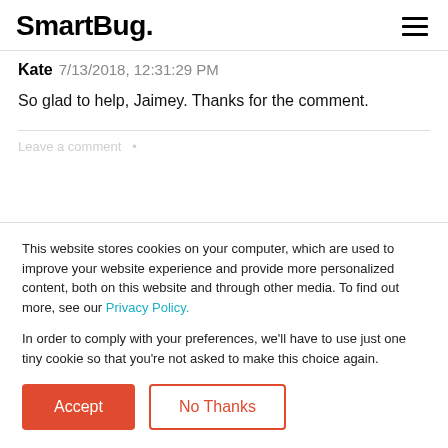SmartBug.
Kate  7/13/2018, 12:31:29 PM
So glad to help, Jaimey. Thanks for the comment.
This website stores cookies on your computer, which are used to improve your website experience and provide more personalized content, both on this website and through other media. To find out more, see our Privacy Policy.

In order to comply with your preferences, we'll have to use just one tiny cookie so that you're not asked to make this choice again.
Accept
No Thanks